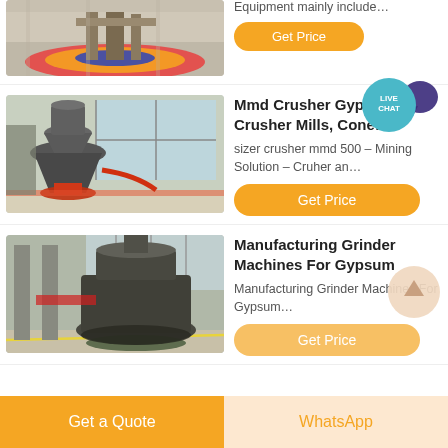[Figure (photo): Partial view of industrial equipment with red, orange and blue circular base on factory floor]
Equipment mainly include…
Get Price
[Figure (photo): Large cone crusher machine in a factory/warehouse setting with glass windows]
Mmd Crusher Gypsum | Crusher Mills, Cone…
sizer crusher mmd 500 – Mining Solution – Cruher an…
Get Price
[Figure (photo): Large industrial grinder machine in a factory floor]
Manufacturing Grinder Machines For Gypsum
Manufacturing Grinder Machines For Gypsum…
Get Price
Get a Quote
WhatsApp